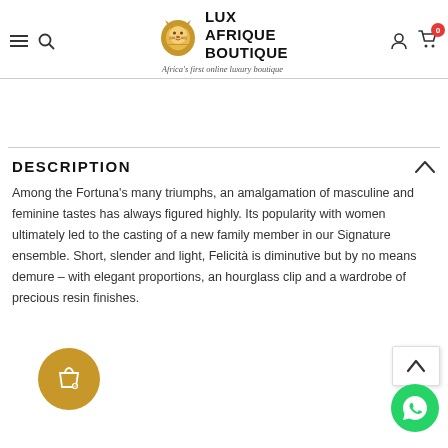LUX AFRIQUE BOUTIQUE — Africa's first online luxury boutique
DESCRIPTION
Among the Fortuna's many triumphs, an amalgamation of masculine and feminine tastes has always figured highly. Its popularity with women ultimately led to the casting of a new family member in our Signature ensemble. Short, slender and light, Felicità is diminutive but by no means demure – with elegant proportions, an hourglass clip and a wardrobe of precious resin finishes.